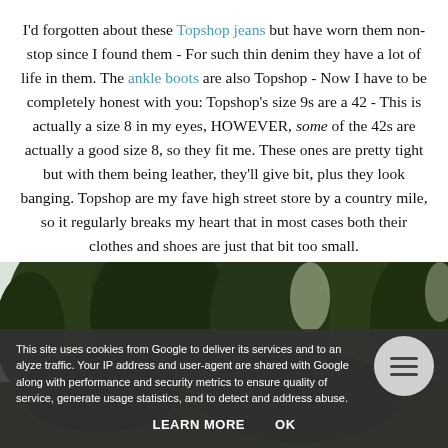I'd forgotten about these Topshop jeans but have worn them non-stop since I found them - For such thin denim they have a lot of life in them. The ankle boots are also Topshop - Now I have to be completely honest with you: Topshop's size 9s are a 42 - This is actually a size 8 in my eyes, HOWEVER, some of the 42s are actually a good size 8, so they fit me. These ones are pretty tight but with them being leather, they'll give bit, plus they look banging. Topshop are my fave high street store by a country mile, so it regularly breaks my heart that in most cases both their clothes and shoes are just that bit too small.
[Figure (photo): Outdoor photo showing trees and foliage with bright sky visible through branches, partially obscured by cookie consent banner overlay]
This site uses cookies from Google to deliver its services and to analyze traffic. Your IP address and user-agent are shared with Google along with performance and security metrics to ensure quality of service, generate usage statistics, and to detect and address abuse. LEARN MORE  OK